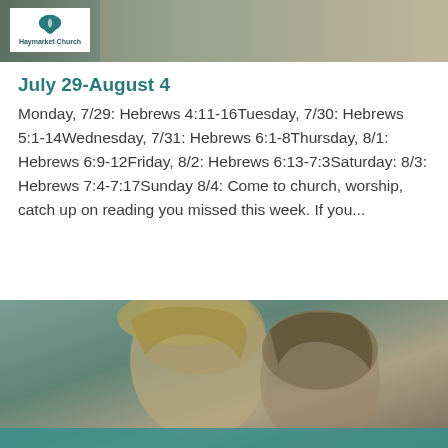[Figure (photo): Top banner image showing a person with Haymarket Church logo overlay on a dark olive/grey background]
July 29-August 4
Monday, 7/29: Hebrews 4:11-16Tuesday, 7/30: Hebrews 5:1-14Wednesday, 7/31: Hebrews 6:1-8Thursday, 8/1: Hebrews 6:9-12Friday, 8/2: Hebrews 6:13-7:3Saturday: 8/3: Hebrews 7:4-7:17Sunday 8/4: Come to church, worship, catch up on reading you missed this week. If you...
[Figure (photo): Bottom image showing two people with heads bowed, teal/olive tones, with a teal bar at the bottom]